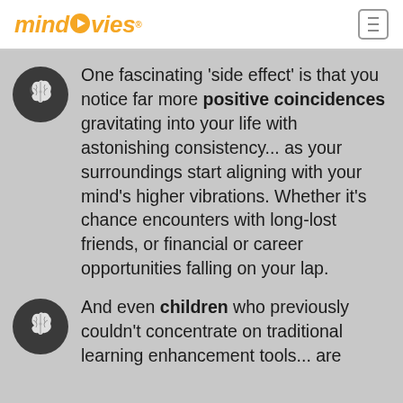mindmovies®
One fascinating 'side effect' is that you notice far more positive coincidences gravitating into your life with astonishing consistency... as your surroundings start aligning with your mind's higher vibrations. Whether it's chance encounters with long-lost friends, or financial or career opportunities falling on your lap.
And even children who previously couldn't concentrate on traditional learning enhancement tools... are